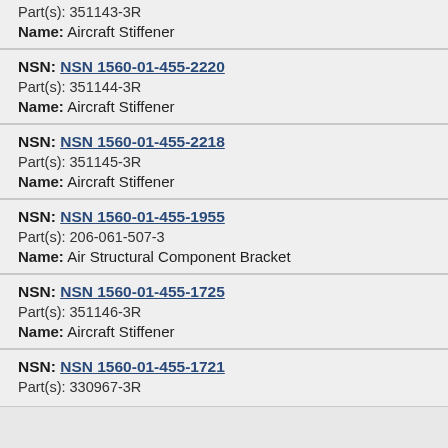Part(s): 351143-3R
Name: Aircraft Stiffener
NSN: NSN 1560-01-455-2220
Part(s): 351144-3R
Name: Aircraft Stiffener
NSN: NSN 1560-01-455-2218
Part(s): 351145-3R
Name: Aircraft Stiffener
NSN: NSN 1560-01-455-1955
Part(s): 206-061-507-3
Name: Air Structural Component Bracket
NSN: NSN 1560-01-455-1725
Part(s): 351146-3R
Name: Aircraft Stiffener
NSN: NSN 1560-01-455-1721
Part(s): 330967-3R